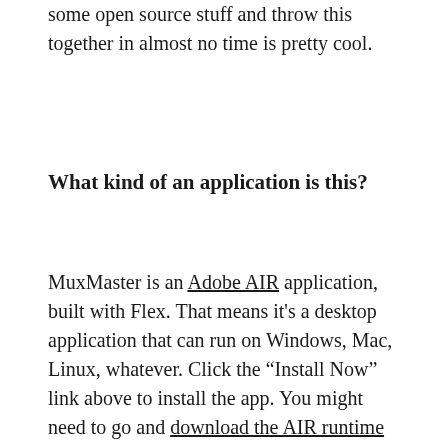some open source stuff and throw this together in almost no time is pretty cool.
What kind of an application is this?
MuxMaster is an Adobe AIR application, built with Flex. That means it's a desktop application that can run on Windows, Mac, Linux, whatever. Click the “Install Now” link above to install the app. You might need to go and download the AIR runtime first. Hopefully it’ll tell you that and do everything automagically.